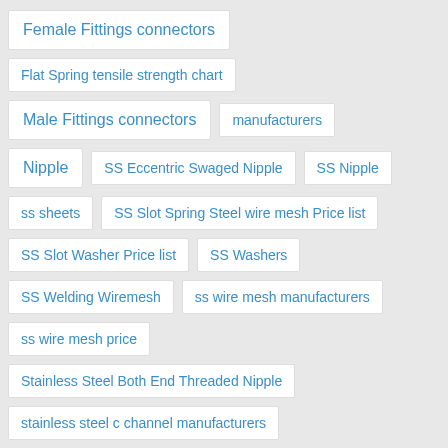Female Fittings connectors
Flat Spring tensile strength chart
Male Fittings connectors
manufacturers
Nipple
SS Eccentric Swaged Nipple
SS Nipple
ss sheets
SS Slot Spring Steel wire mesh Price list
SS Slot Washer Price list
SS Washers
SS Welding Wiremesh
ss wire mesh manufacturers
ss wire mesh price
Stainless Steel Both End Threaded Nipple
stainless steel c channel manufacturers